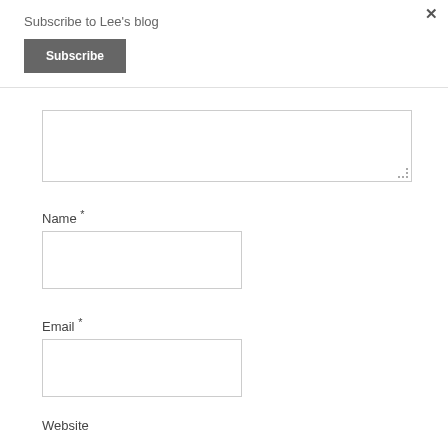Subscribe to Lee's blog
Subscribe
[Figure (screenshot): A textarea input box (comment field), partially visible, with a resize handle at bottom-right corner.]
Name *
[Figure (screenshot): Empty text input field for Name]
Email *
[Figure (screenshot): Empty text input field for Email]
Website